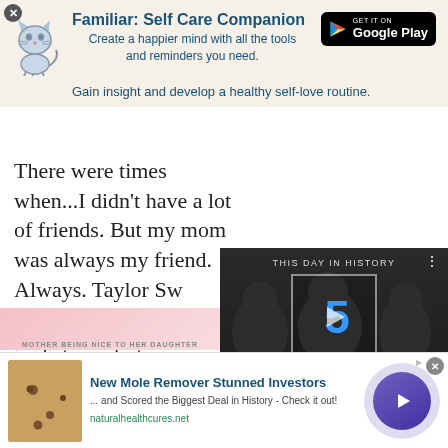[Figure (screenshot): App advertisement banner for 'Familiar: Self Care Companion' with cat illustration and Google Play badge]
There were times when...I didn't have a lot of friends. But my mom was always my friend. Always. Taylor Sw...
Mother and daugh... in distance but ne...
[Figure (screenshot): Video overlay showing 'This Day in History' with the number 5 and AUGUST label, with video controls]
[Figure (photo): Pink background image strip at bottom left]
[Figure (screenshot): Bottom advertisement: 'New Mole Remover Stunned Investors' with skin photo and circular arrow button]